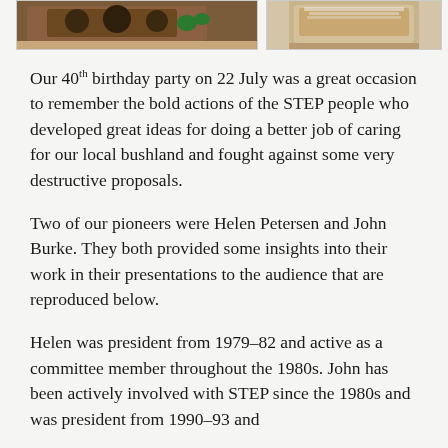[Figure (photo): Two cropped food photos at the top of the page: left shows a dark baked item on a wooden board with green leaves; right shows a light-colored baked item with powdered sugar.]
Our 40th birthday party on 22 July was a great occasion to remember the bold actions of the STEP people who developed great ideas for doing a better job of caring for our local bushland and fought against some very destructive proposals.
Two of our pioneers were Helen Petersen and John Burke. They both provided some insights into their work in their presentations to the audience that are reproduced below.
Helen was president from 1979–82 and active as a committee member throughout the 1980s. John has been actively involved with STEP since the 1980s and was president from 1990–93 and